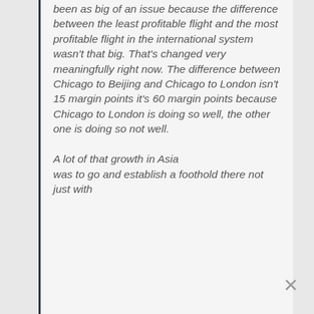been as big of an issue because the difference between the least profitable flight and the most profitable flight in the international system wasn't that big. That's changed very meaningfully right now. The difference between Chicago to Beijing and Chicago to London isn't 15 margin points it's 60 margin points because Chicago to London is doing so well, the other one is doing so not well.
A lot of that growth in Asia was to go and establish a foothold there not just with